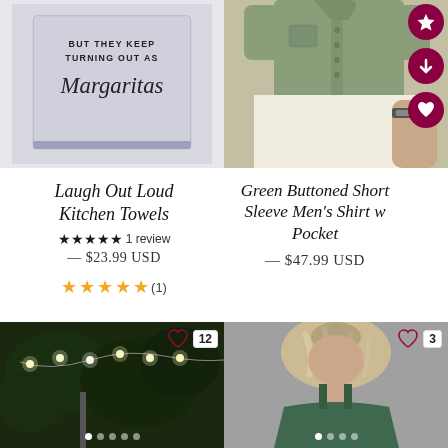[Figure (photo): Kitchen towel with text 'BUT THEY KEEP TURNING OUT AS Margaritas' in black print and script lettering on a light gray/blue towel]
[Figure (photo): Man wearing a green buttoned short sleeve shirt with white shorts, torso view only]
Laugh Out Loud Kitchen Towels
★★★★★ 1 review
— $23.99 USD
★★★★★ (1)
Green Buttoned Short Sleeve Men's Shirt w Pocket
— $47.99 USD
[Figure (photo): Outdoor fairy lights strung in trees at night]
[Figure (photo): Woman with blonde highlighted wavy hair, wearing green top]